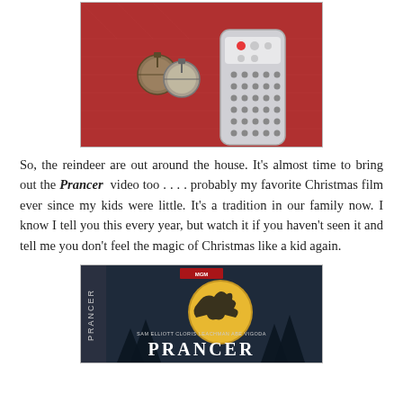[Figure (photo): Photo of Christmas jingle bells and a TV remote control on a red quilted fabric surface]
So, the reindeer are out around the house. It's almost time to bring out the Prancer video too . . . . probably my favorite Christmas film ever since my kids were little. It's a tradition in our family now. I know I tell you this every year, but watch it if you haven't seen it and tell me you don't feel the magic of Christmas like a kid again.
[Figure (photo): DVD cover of the movie Prancer, showing SAM ELLIOTT, CLORIS LEACHMAN, ABE VIGODA in text, with the MGM logo and a reindeer silhouette against a full moon with bare trees]